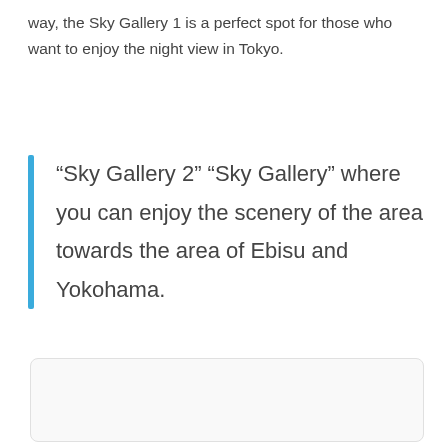way, the Sky Gallery 1 is a perfect spot for those who want to enjoy the night view in Tokyo.
“Sky Gallery 2” “Sky Gallery” where you can enjoy the scenery of the area towards the area of Ebisu and Yokohama.
[Figure (other): White rectangular box with rounded corners and light border, representing an image placeholder.]